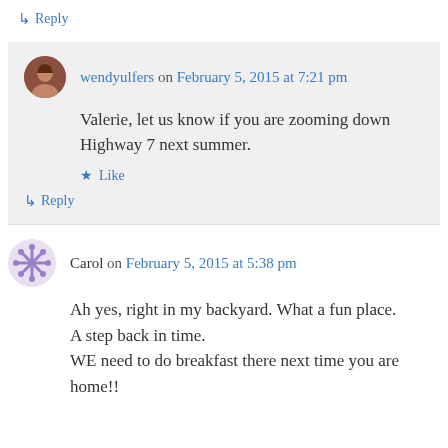↳ Reply
wendyulfers on February 5, 2015 at 7:21 pm
Valerie, let us know if you are zooming down Highway 7 next summer.
★ Like
↳ Reply
Carol on February 5, 2015 at 5:38 pm
Ah yes, right in my backyard. What a fun place. A step back in time. WE need to do breakfast there next time you are home!!